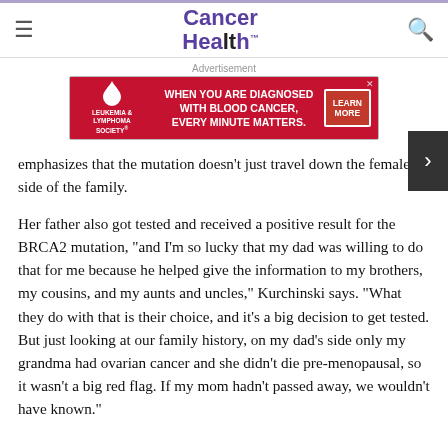Cancer Health
[Figure (screenshot): Leukemia & Lymphoma Society advertisement banner: 'WHEN YOU ARE DIAGNOSED WITH BLOOD CANCER, EVERY MINUTE MATTERS.' with a LEARN MORE button]
emphasizes that the mutation doesn’t just travel down the female side of the family.
Her father also got tested and received a positive result for the BRCA2 mutation, “and I’m so lucky that my dad was willing to do that for me because he helped give the information to my brothers, my cousins, and my aunts and uncles,” Kurchinski says. “What they do with that is their choice, and it’s a big decision to get tested. But just looking at our family history, on my dad’s side only my grandma had ovarian cancer and she didn’t die pre-menopausal, so it wasn’t a big red flag. If my mom hadn’t passed away, we wouldn’t have known.”